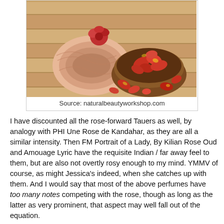[Figure (photo): A rolled pink towel with a red rose on top beside a wooden bowl filled with red and orange rose petals, with more petals scattered on a bamboo surface.]
Source: naturalbeautyworkshop.com
I have discounted all the rose-forward Tauers as well, by analogy with PHI Une Rose de Kandahar, as they are all a similar intensity. Then FM Portrait of a Lady, By Kilian Rose Oud and Amouage Lyric have the requisite Indian / far away feel to them, but are also not overtly rosy enough to my mind. YMMV of course, as might Jessica's indeed, when she catches up with them. And I would say that most of the above perfumes have too many notes competing with the rose, though as long as the latter as very prominent, that aspect may well fall out of the equation.